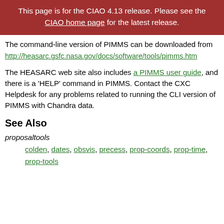This page is for the CIAO 4.13 release. Please see the CIAO home page for the latest release.
The command-line version of PIMMS can be downloaded from http://heasarc.gsfc.nasa.gov/docs/software/tools/pimms.htm
The HEASARC web site also includes a PIMMS user guide, and there is a 'HELP' command in PIMMS. Contact the CXC Helpdesk for any problems related to running the CLI version of PIMMS with Chandra data.
See Also
proposaltools
colden, dates, obsvis, precess, prop-coords, prop-time, prop-tools